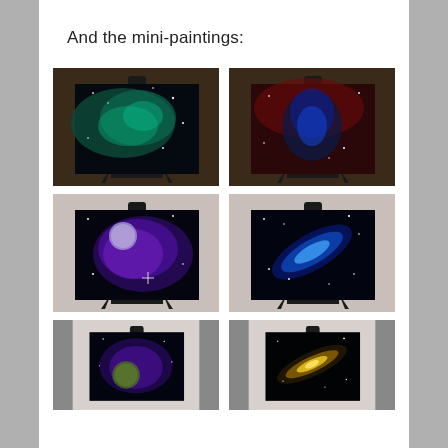And the mini-paintings:
[Figure (photo): Mini painting on easel: teal/green nebula galaxy space art on black canvas]
[Figure (photo): Mini painting on easel: blue dragon/figure with red background space art on black canvas]
[Figure (photo): Mini painting on easel: purple nebula with moon space art on black canvas]
[Figure (photo): Mini painting on easel: blue spiral galaxy space art on black canvas]
[Figure (photo): Mini painting on easel: purple/green galaxy with planet space art on black canvas (partially cropped)]
[Figure (photo): Mini painting on easel: yellow/gold galaxy on black canvas (partially cropped)]